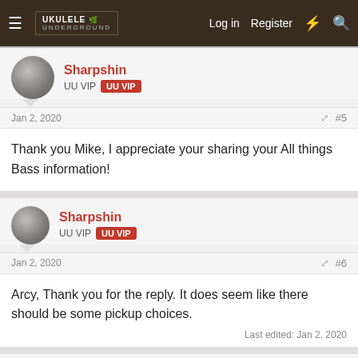Ukulele Underground — Log in | Register
Sharpshin
UU VIP  UU VIP
Jan 2, 2020  #5
Thank you Mike, I appreciate your sharing your All things Bass information!
Sharpshin
UU VIP  UU VIP
Jan 2, 2020  #6
Arcy, Thank you for the reply. It does seem like there should be some pickup choices.
Last edited: Jan 2, 2020